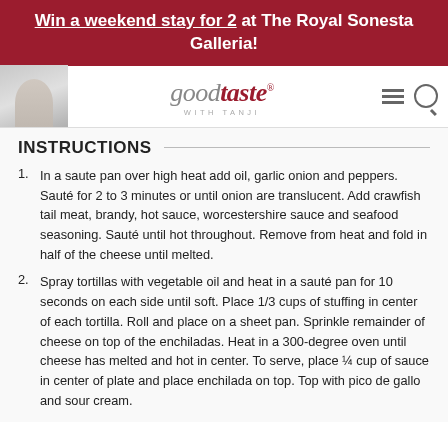Win a weekend stay for 2 at The Royal Sonesta Galleria!
[Figure (logo): Good Taste With Tanji website header logo with navigation icons]
INSTRUCTIONS
In a saute pan over high heat add oil, garlic onion and peppers. Sauté for 2 to 3 minutes or until onion are translucent. Add crawfish tail meat, brandy, hot sauce, worcestershire sauce and seafood seasoning. Sauté until hot throughout. Remove from heat and fold in half of the cheese until melted.
Spray tortillas with vegetable oil and heat in a sauté pan for 10 seconds on each side until soft. Place 1/3 cups of stuffing in center of each tortilla. Roll and place on a sheet pan. Sprinkle remainder of cheese on top of the enchiladas. Heat in a 300-degree oven until cheese has melted and hot in center. To serve, place ¼ cup of sauce in center of plate and place enchilada on top. Top with pico de gallo and sour cream.